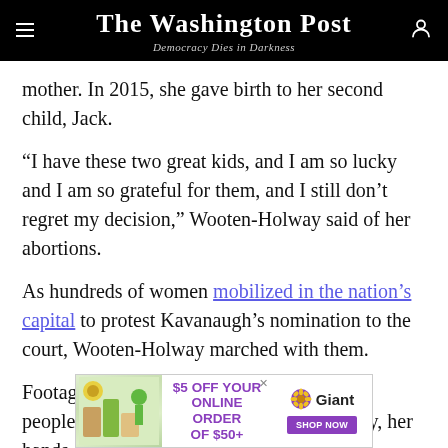The Washington Post — Democracy Dies in Darkness
mother. In 2015, she gave birth to her second child, Jack.
“I have these two great kids, and I am so lucky and I am so grateful for them, and I still don’t regret my decision,” Wooten-Holway said of her abortions.
As hundreds of women mobilized in the nation’s capital to protest Kavanaugh’s nomination to the court, Wooten-Holway marched with them.
Footage of Wooten-Holway in the crowd of people protesting appeared on CNN that day, her hands above
[Figure (screenshot): Giant grocery store advertisement banner: $5 OFF YOUR ONLINE ORDER OF $50+ with Giant logo and SHOP NOW button]